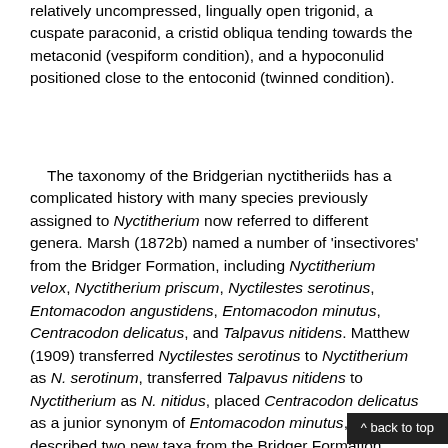relatively uncompressed, lingually open trigonid, a cuspate paraconid, a cristid obliqua tending towards the metaconid (vespiform condition), and a hypoconulid positioned close to the entoconid (twinned condition).
The taxonomy of the Bridgerian nyctitheriids has a complicated history with many species previously assigned to Nyctitherium now referred to different genera. Marsh (1872b) named a number of 'insectivores' from the Bridger Formation, including Nyctitherium velox, Nyctitherium priscum, Nyctilestes serotinus, Entomacodon angustidens, Entomacodon minutus, Centracodon delicatus, and Talpavus nitidens. Matthew (1909) transferred Nyctilestes serotinus to Nyctitherium as N. serotinum, transferred Talpavus nitidens to Nyctitherium as N. nitidus, placed Centracodon delicatus as a junior synonym of Entomacodon minutus, and described two new taxa from the Bridger Formation, Myolestes dasypelix and Nyctitherium curtidens. Robinson (1968a) regarded M. dasypelix as an aberrant representative of Nyctitherium and E. angustidens as a junior synonym of N. serotinum, followed by a determination from Conin 1978